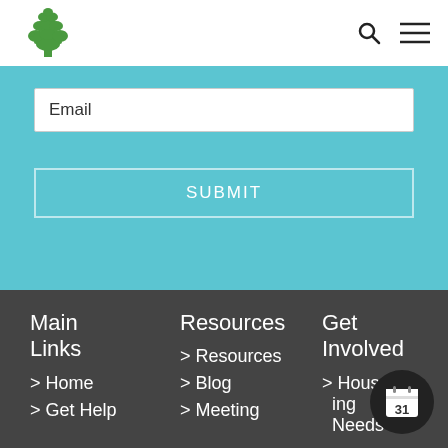[Figure (logo): Green tree/leaves logo icon]
Email
SUBMIT
Main Links
> Home
> Get Help
Resources
> Resources
> Blog
> Meeting
Get Involved
> Housing Needs
[Figure (illustration): Calendar icon showing 31 in a dark circle badge]